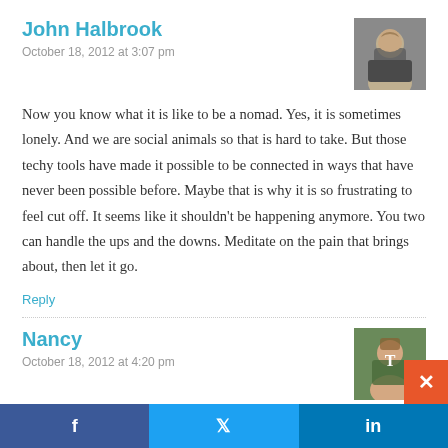John Halbrook
October 18, 2012 at 3:07 pm
Now you know what it is like to be a nomad. Yes, it is sometimes lonely. And we are social animals so that is hard to take. But those techy tools have made it possible to be connected in ways that have never been possible before. Maybe that is why it is so frustrating to feel cut off. It seems like it shouldn't be happening anymore. You two can handle the ups and the downs. Meditate on the pain that brings about, then let it go.
Reply
Nancy
October 18, 2012 at 4:20 pm
f  t  in